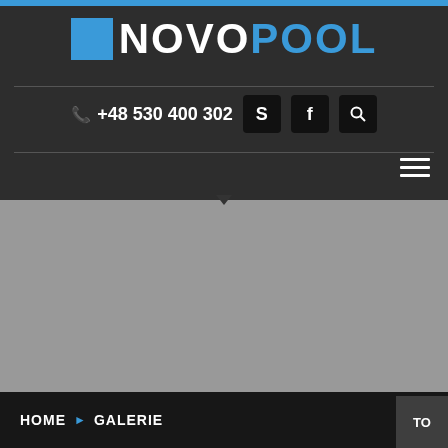[Figure (logo): NOVOPOOL logo with blue square and text, blue POOL text on dark background]
+48 530 400 302
[Figure (screenshot): Dark header navigation with Skype, Facebook, and search icons]
[Figure (photo): Grey background main content area]
HOME ► GALERIE